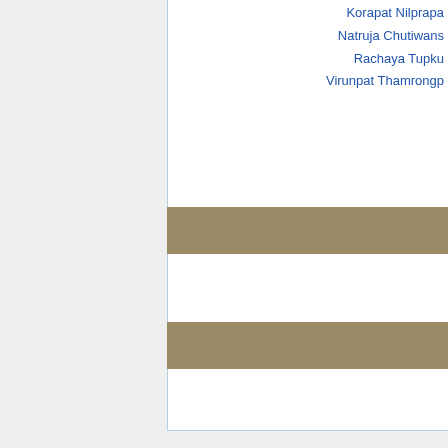Korapat Nilprapa
Natruja Chutiwans
Rachaya Tupku
Virunpat Thamrongp
[Figure (other): Two horizontal brown/tan colored bars - part of a table or infobox layout]
| Categories: | BNK48 Members |
| | | Team BIII Members |
| | | BNK48 1st Generation | | | Bangkok |
| | | Thai | | | 1999 | | | IAM |
This page was last modified on 24 January 2022, at 22:06.
Privacy policy   About Wiki48   Disclaimers
[Figure (logo): Powered by MediaWiki logo with sunflower icon]